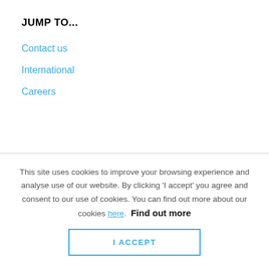JUMP TO...
Contact us
International
Careers
This site uses cookies to improve your browsing experience and analyse use of our website. By clicking 'I accept' you agree and consent to our use of cookies. You can find out more about our cookies here. Find out more
I ACCEPT